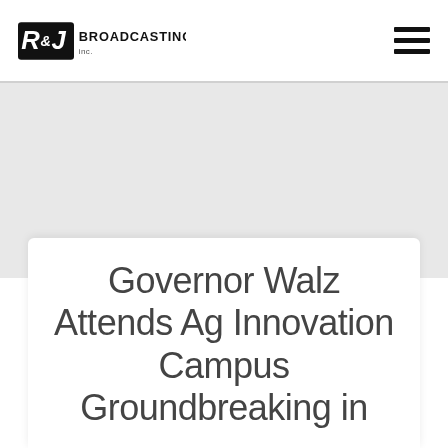R&J Broadcasting
Governor Walz Attends Ag Innovation Campus Groundbreaking in Crookston